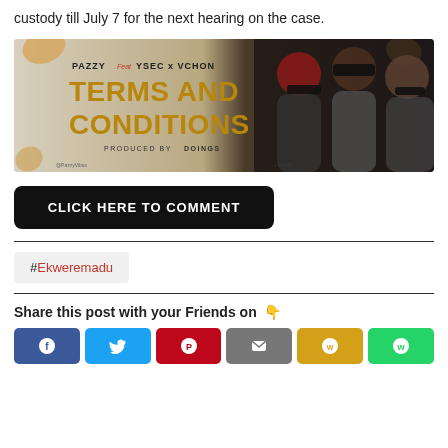custody till July 7 for the next hearing on the case.
[Figure (photo): Music promotional banner: PAZZY Feat YSEC x VCHON - TERMS AND CONDITIONS, Produced by DOINGS]
CLICK HERE TO COMMENT
#Ekweremadu
Share this post with your Friends on 👇